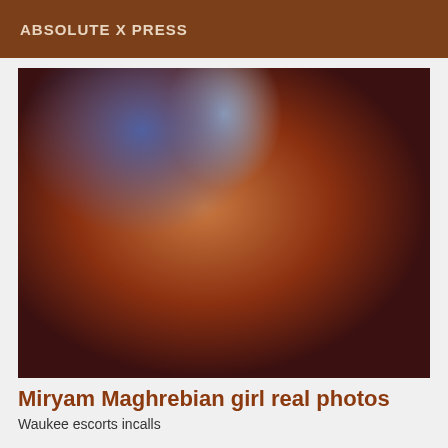ABSOLUTE X PRESS
[Figure (photo): A woman taking a selfie wearing a black v-neck shirt, with reddish ambient lighting and a blue light in the background.]
Miryam Maghrebian girl real photos
Waukee escorts incalls